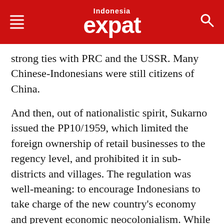Indonesia expat
strong ties with PRC and the USSR. Many Chinese-Indonesians were still citizens of China.
And then, out of nationalistic spirit, Sukarno issued the PP10/1959, which limited the foreign ownership of retail businesses to the regency level, and prohibited it in sub-districts and villages. The regulation was well-meaning: to encourage Indonesians to take charge of the new country's economy and prevent economic neocolonialism. While this policy did not specifically target Chinese-Indonesians, many who owned retail